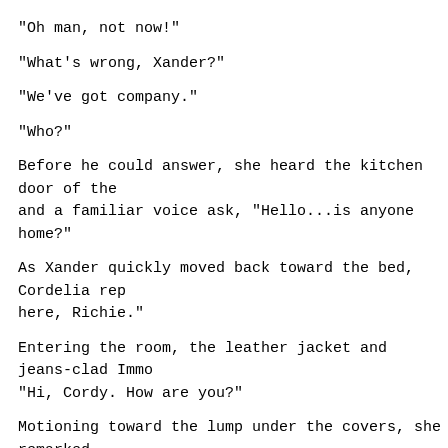"Oh man, not now!"
"What's wrong, Xander?"
"We've got company."
"Who?"
Before he could answer, she heard the kitchen door of the and a familiar voice ask, "Hello...is anyone home?"
As Xander quickly moved back toward the bed, Cordelia rep here, Richie."
Entering the room, the leather jacket and jeans-clad Immo "Hi, Cordy. How are you?"
Motioning toward the lump under the covers, she remarked, considering the English Patient here and all."
At that moment, a series of moans could be heard emanatin the sheets.
With a perplexed look on his face, Richie Ryan asked, "Wh with him?"
Now also looking perplexed, Cordelia remarked, "You know through that window last week. He's all cut up...and achy
His answer was in the wall...